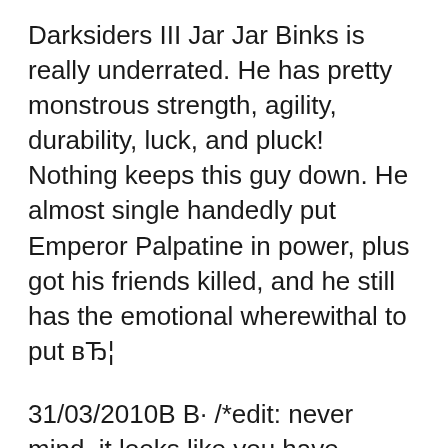Darksiders III Jar Jar Binks is really underrated. He has pretty monstrous strength, agility, durability, luck, and pluck! Nothing keeps this guy down. He almost single handedly put Emperor Palpatine in power, plus got his friends killed, and he still has the emotional wherewithal to put вЂ¦
31/03/2010В В· /*edit: never mind, it looks like you have completed the game, so unless you are playing a new game, you should have the blade forged. NEW ANSWER: вЂ¦ Ultimate Blade вЂ" Forge the Armageddon Blade. Collect all the bits and forge the blade. World Raider вЂ" Collect all 27 artifacts. Collect all the artifacts same as...